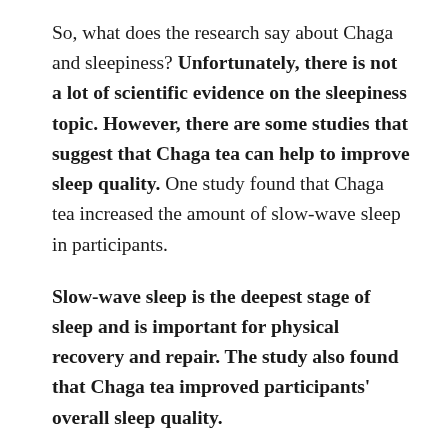So, what does the research say about Chaga and sleepiness? Unfortunately, there is not a lot of scientific evidence on the sleepiness topic. However, there are some studies that suggest that Chaga tea can help to improve sleep quality. One study found that Chaga tea increased the amount of slow-wave sleep in participants.
Slow-wave sleep is the deepest stage of sleep and is important for physical recovery and repair. The study also found that Chaga tea improved participants' overall sleep quality.
Another study looked at the effects of Chaga extract on sleep in rats. The study found that the extract increased the amount of time the rats spent...